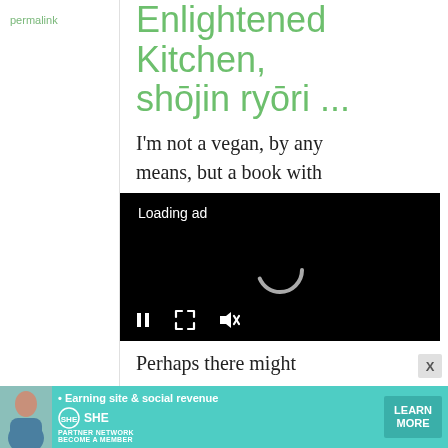permalink
Enlightened Kitchen, shōjin ryōri ...
I'm not a vegan, by any means, but a book with
[Figure (screenshot): Loading ad video player with black background, loading spinner, pause/fullscreen/mute controls at bottom]
Perhaps there might
[Figure (infographic): SHE Partner Network banner ad: Earning site & social revenue, LEARN MORE button, woman photo]